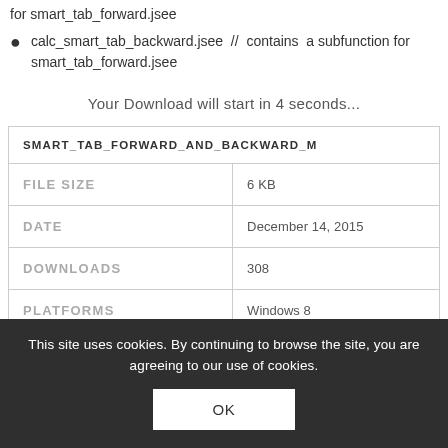for smart_tab_forward.jsee
calc_smart_tab_backward.jsee // contains a subfunction for smart_tab_forward.jsee
Your Download will start in 4 seconds...
| SMART_TAB_FORWARD_AND_BACKWARD_M... |
| --- |
| FILE SIZE | 6 KB |
| DATE | December 14, 2015 |
| DOWNLOADS | 308 |
| PLATFORMS | Windows 8 |
This site uses cookies. By continuing to browse the site, you are agreeing to our use of cookies.